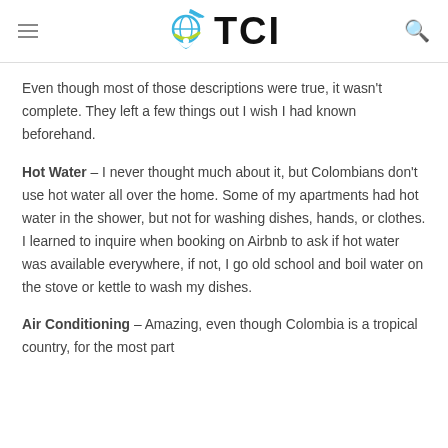TCI
Even though most of those descriptions were true, it wasn't complete. They left a few things out I wish I had known beforehand.
Hot Water – I never thought much about it, but Colombians don't use hot water all over the home. Some of my apartments had hot water in the shower, but not for washing dishes, hands, or clothes. I learned to inquire when booking on Airbnb to ask if hot water was available everywhere, if not, I go old school and boil water on the stove or kettle to wash my dishes.
Air Conditioning – Amazing, even though Colombia is a tropical country, for the most part